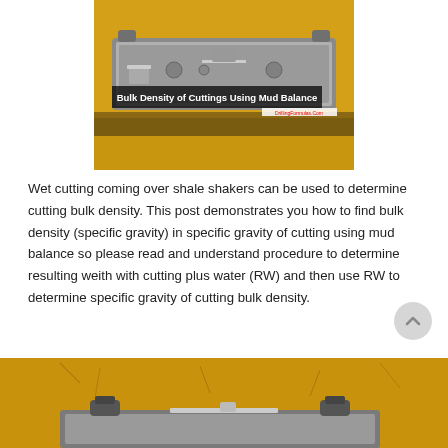[Figure (photo): Photo of a mud balance tool used for determining bulk density of drill cuttings, placed on a yellow surface. Text overlay reads 'Bulk Density of Cuttings Using Mud Balance' with a watermark 'DrillingFormulas.Com'.]
Wet cutting coming over shale shakers can be used to determine cutting bulk density. This post demonstrates you how to find bulk density (specific gravity) in specific gravity of cutting using mud balance so please read and understand procedure to determine resulting weith with cutting plus water (RW) and then use RW to determine specific gravity of cutting bulk density.
[Figure (photo): Close-up photo of a mud balance tool on a yellow background, partially visible at the bottom of the page.]